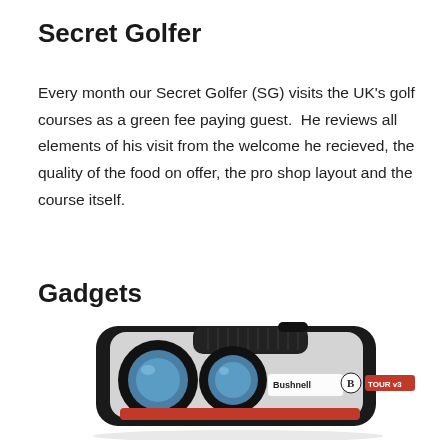Secret Golfer
Every month our Secret Golfer (SG) visits the UK's golf courses as a green fee paying guest.  He reviews all elements of his visit from the welcome he recieved, the quality of the food on offer, the pro shop layout and the course itself.
Gadgets
[Figure (photo): A Bushnell Tour v3 golf rangefinder device — a compact silver and black monocular-style unit with a red accent stripe and the Bushnell logo visible on its body.]